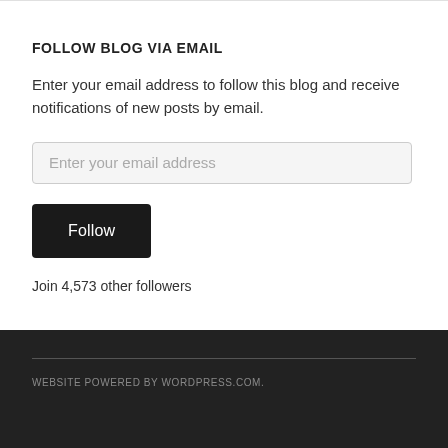FOLLOW BLOG VIA EMAIL
Enter your email address to follow this blog and receive notifications of new posts by email.
Enter your email address
Follow
Join 4,573 other followers
WEBSITE POWERED BY WORDPRESS.COM.